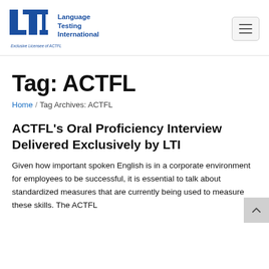LTI Language Testing International — Exclusive Licensee of ACTFL
Tag: ACTFL
Home / Tag Archives: ACTFL
ACTFL's Oral Proficiency Interview Delivered Exclusively by LTI
Given how important spoken English is in a corporate environment for employees to be successful, it is essential to talk about standardized measures that are currently being used to measure these skills. The ACTFL